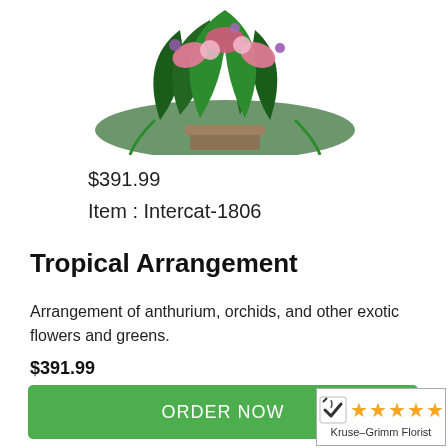[Figure (photo): Tropical flower arrangement with anthurium, orchids, and exotic greens in a pot]
$391.99
Item : Intercat-1806
Tropical Arrangement
Arrangement of anthurium, orchids, and other exotic flowers and greens.
$391.99
ORDER NOW
[Figure (logo): Kruse-Grimm Florist badge with checkmark and five orange stars]